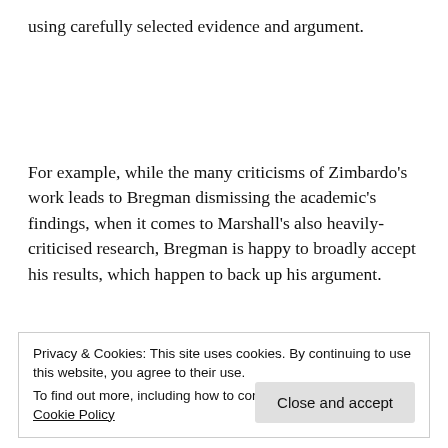using carefully selected evidence and argument.
For example, while the many criticisms of Zimbardo's work leads to Bregman dismissing the academic's findings, when it comes to Marshall's also heavily-criticised research, Bregman is happy to broadly accept his results, which happen to back up his argument.
Privacy & Cookies: This site uses cookies. By continuing to use this website, you agree to their use.
To find out more, including how to control cookies, see here: Cookie Policy
Close and accept